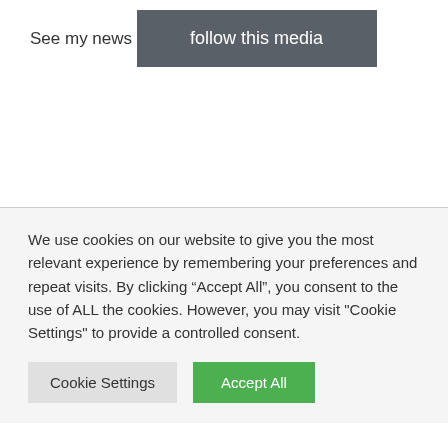See my news
follow this media
We use cookies on our website to give you the most relevant experience by remembering your preferences and repeat visits. By clicking “Accept All”, you consent to the use of ALL the cookies. However, you may visit "Cookie Settings" to provide a controlled consent.
Cookie Settings
Accept All